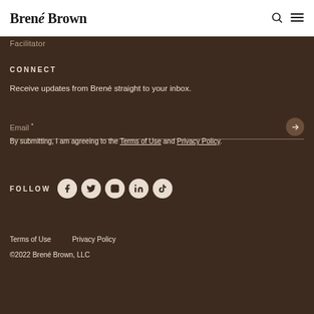Brené Brown
Facilitator
CONNECT
Receive updates from Brené straight to your inbox.
Email *
By submitting, I am agreeing to the Terms of Use and Privacy Policy.
FOLLOW
Terms of Use    Privacy Policy
©2022 Brené Brown, LLC